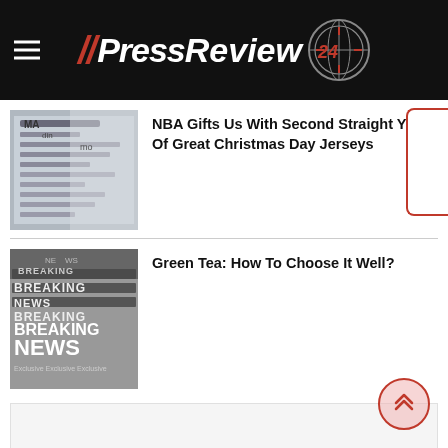[Figure (logo): PressReview24 website header logo on black background with hamburger menu icon]
NBA Gifts Us With Second Straight Year Of Great Christmas Day Jerseys
Green Tea: How To Choose It Well?